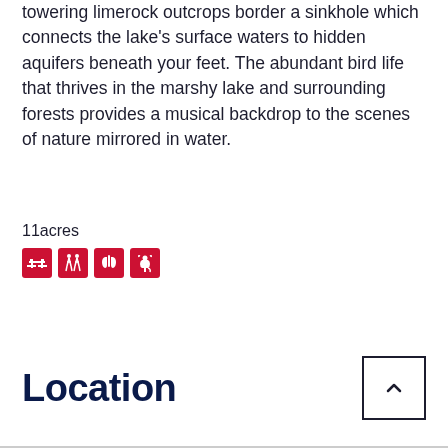towering limerock outcrops border a sinkhole which connects the lake's surface waters to hidden aquifers beneath your feet. The abundant bird life that thrives in the marshy lake and surrounding forests provides a musical backdrop to the scenes of nature mirrored in water.
11acres
[Figure (infographic): Four red icon boxes showing amenity symbols: picnic table, hiking/people, restroom/lungs, and pet/dog icons]
Location